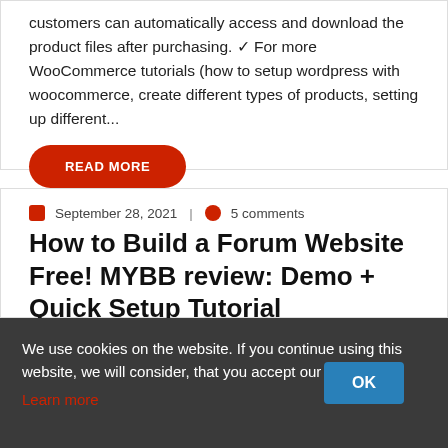customers can automatically access and download the product files after purchasing. ✓ For more WooCommerce tutorials (how to setup wordpress with woocommerce, create different types of products, setting up different...
READ MORE
September 28, 2021  |  5 comments
How to Build a Forum Website Free! MYBB review: Demo + Quick Setup Tutorial
By Reviewer  |  Marketing Videos  |  Build, Demo, Forum, FREE, MYBB, Quick, review, Setup, Tutorial, Website
We use cookies on the website. If you continue using this website, we will consider, that you accept our cookies. Learn more
OK